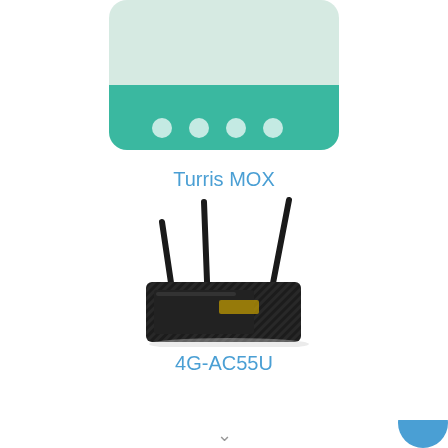[Figure (illustration): Illustration of a Turris MOX router shown as a flat teal/green rectangular device with four circular ports on the front, viewed from a slight angle. The top portion shows a light mint green body and the bottom shows a darker teal band with four white circular indicators.]
Turris MOX
[Figure (photo): Photo of an ASUS 4G-AC55U router, a black diamond-patterned device with three external antennas, viewed from the front-left angle.]
4G-AC55U